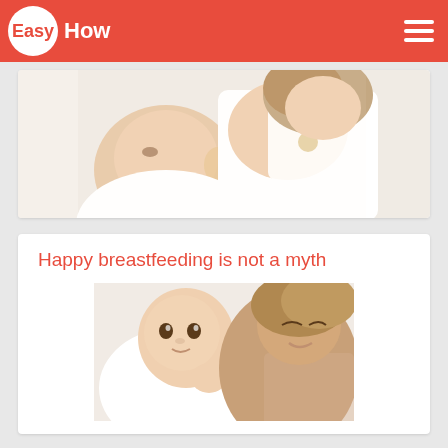EasyHow
[Figure (photo): Mother breastfeeding a newborn baby, mother wearing white top, looking down at baby]
Happy breastfeeding is not a myth
[Figure (photo): Happy mother and baby facing each other, mother smiling, baby in white clothing]